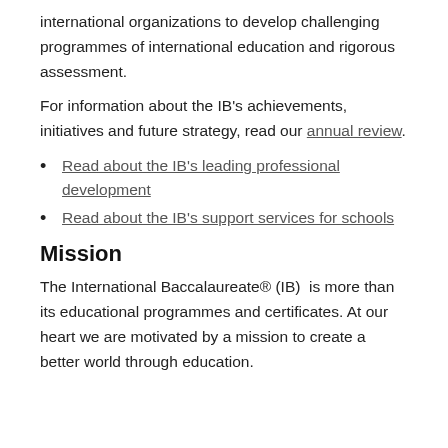international organizations to develop challenging programmes of international education and rigorous assessment.
For information about the IB's achievements, initiatives and future strategy, read our annual review.
Read about the IB's leading professional development
Read about the IB's support services for schools
Mission
The International Baccalaureate® (IB)  is more than its educational programmes and certificates. At our heart we are motivated by a mission to create a better world through education.